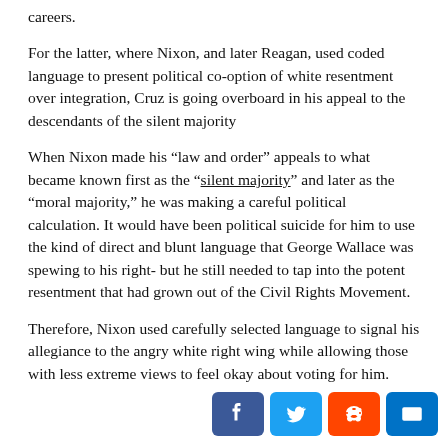careers.
For the latter, where Nixon, and later Reagan, used coded language to present political co-option of white resentment over integration, Cruz is going overboard in his appeal to the descendants of the silent majority
When Nixon made his “law and order” appeals to what became known first as the “silent majority” and later as the “moral majority,” he was making a careful political calculation. It would have been political suicide for him to use the kind of direct and blunt language that George Wallace was spewing to his right- but he still needed to tap into the potent resentment that had grown out of the Civil Rights Movement.
Therefore, Nixon used carefully selected language to signal his allegiance to the angry white right wing while allowing those with less extreme views to feel okay about voting for him.